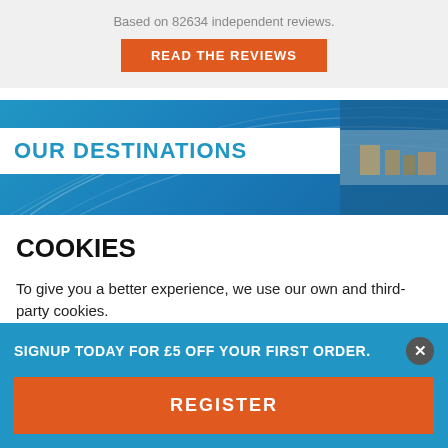Based on 82634 independent reviews.
READ THE REVIEWS
[Figure (illustration): Blue gradient banner with arc/swoosh lines and a small aerial city photo on the right]
OUR DESTINATIONS
COOKIES
To give you a better experience, we use our own and third-party cookies.
SIGNUP TODAY FOR £5 OFF YOUR FIRST ORDER.
REGISTER